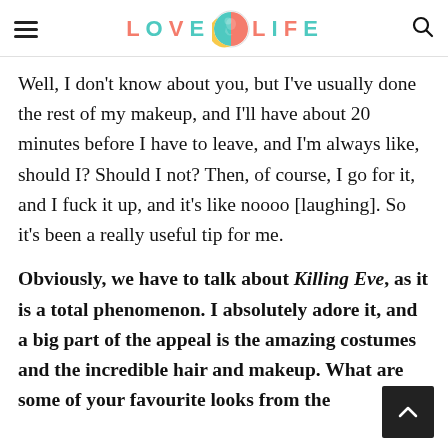LOVE LIFE
Well, I don't know about you, but I've usually done the rest of my makeup, and I'll have about 20 minutes before I have to leave, and I'm always like, should I? Should I not? Then, of course, I go for it, and I fuck it up, and it's like noooo [laughing]. So it's been a really useful tip for me.
Obviously, we have to talk about Killing Eve, as it is a total phenomenon. I absolutely adore it, and a big part of the appeal is the amazing costumes and the incredible hair and makeup. What are some of your favourite looks from the